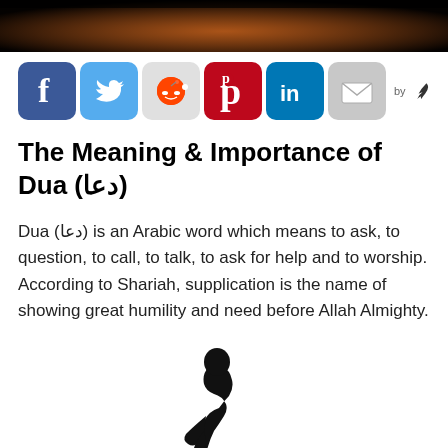[Figure (photo): Header image with warm orange/amber tones, likely showing hands raised in prayer]
[Figure (illustration): Social sharing icons row: Facebook (blue), Twitter (light blue), Reddit (gray), Pinterest (red), LinkedIn (blue), Email (gray), followed by 'by' text and a feather logo]
The Meaning & Importance of Dua (دعا)
Dua (دعا) is an Arabic word which means to ask, to question, to call, to talk, to ask for help and to worship. According to Shariah, supplication is the name of showing great humility and need before Allah Almighty.
[Figure (illustration): Black silhouette of a person kneeling with head bowed and hands clasped in prayer]